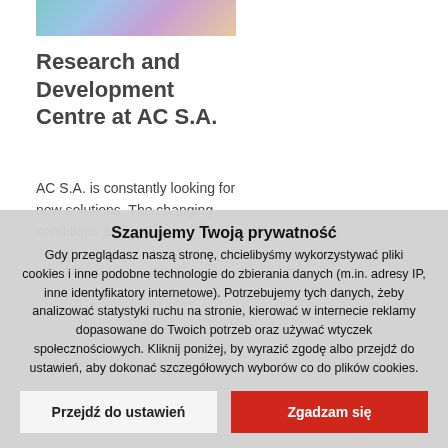[Figure (photo): Partially visible colorful photo in top-left corner of the page]
Research and Development Centre at AC S.A.
AC S.A. is constantly looking for new solutions. The changing conditions and...
Szanujemy Twoją prywatność
Gdy przeglądasz naszą stronę, chcielibyśmy wykorzystywać pliki cookies i inne podobne technologie do zbierania danych (m.in. adresy IP, inne identyfikatory internetowe). Potrzebujemy tych danych, żeby analizować statystyki ruchu na stronie, kierować w internecie reklamy dopasowane do Twoich potrzeb oraz używać wtyczek społecznościowych. Kliknij poniżej, by wyrazić zgodę albo przejdź do ustawień, aby dokonać szczegółowych wyborów co do plików cookies.
Przejdź do ustawień
Zgadzam się